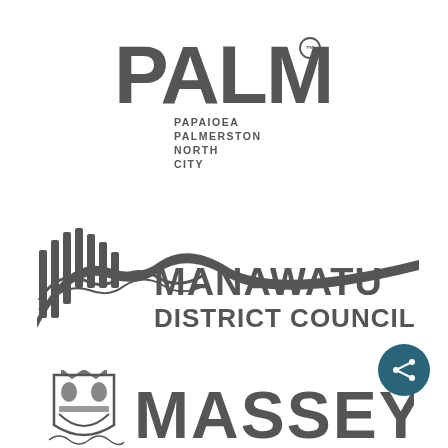[Figure (logo): PALMY logo — large bold gray letters spelling PALMY with a trademark symbol, and below it smaller text reading PAPAIOEA PALMERSTON NORTH CITY]
[Figure (logo): Manawatu District Council logo — gray stylized mountain/river graphic with striped vertical lines and swooping curves, next to bold text MANAWATU DISTRICT COUNCIL]
[Figure (logo): Massey University logo — gray heraldic crest/shield icon on the left and large bold letters MASSEY partially visible on the right]
[Figure (other): Dark teal circular share/network button icon in the bottom right corner]